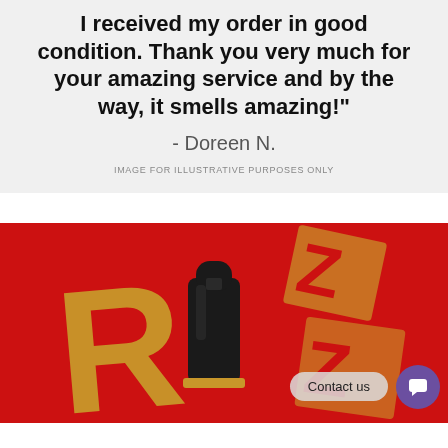I received my order in good condition. Thank you very much for your amazing service and by the way, it smells amazing!"
- Doreen N.
IMAGE FOR ILLUSTRATIVE PURPOSES ONLY
[Figure (photo): Product photo on red background showing a perfume bottle with black cap and gold lettering packaging, with a 'Contact us' button and purple chat icon overlay.]